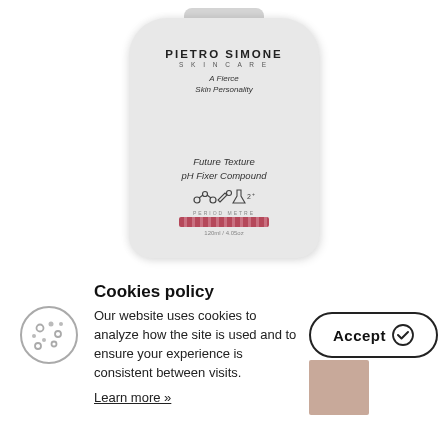[Figure (photo): A white cylindrical skincare bottle labeled 'PIETRO SIMONE SKINCARE - A Fierce Skin Personality - Future Texture pH Fixer Compound' with icons and a pink period-after-opening bar, 120ml/4.05oz, photographed against a white background.]
Cookies policy
Our website uses cookies to analyze how the site is used and to ensure your experience is consistent between visits.
Learn more »
[Figure (illustration): Cookie icon (circle with dots)]
[Figure (illustration): Accept button with checkmark icon and beige square background]